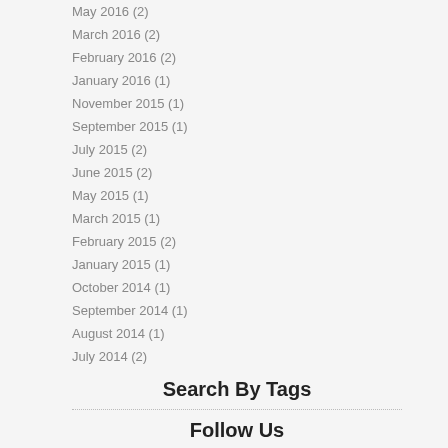May 2016 (2)
March 2016 (2)
February 2016 (2)
January 2016 (1)
November 2015 (1)
September 2015 (1)
July 2015 (2)
June 2015 (2)
May 2015 (1)
March 2015 (1)
February 2015 (2)
January 2015 (1)
October 2014 (1)
September 2014 (1)
August 2014 (1)
July 2014 (2)
Search By Tags
Follow Us